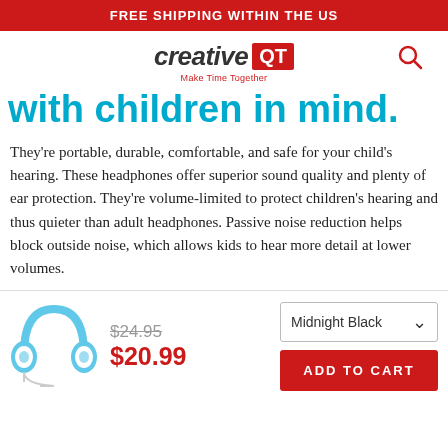FREE SHIPPING WITHIN THE US
[Figure (logo): Creative QT logo with tagline 'Make Time Together' and a search icon]
with children in mind.
They're portable, durable, comfortable, and safe for your child's hearing. These headphones offer superior sound quality and plenty of ear protection. They're volume-limited to protect children's hearing and thus quieter than adult headphones. Passive noise reduction helps block outside noise, which allows kids to hear more detail at lower volumes.
[Figure (photo): Blue and white children's headphones product image]
$24.95 $20.99 Midnight Black ADD TO CART